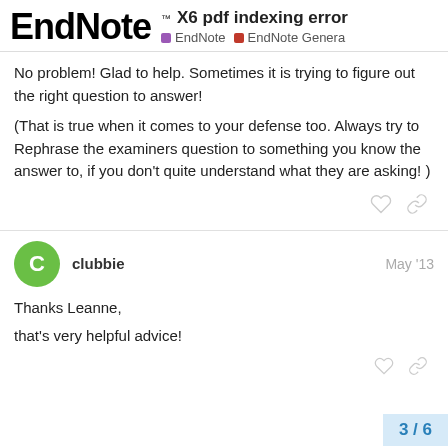EndNote ™ X6 pdf indexing error EndNote EndNote General
No problem!  Glad to help.  Sometimes it is trying to figure out the right question to answer!
(That is true when it comes to your defense too.  Always try to Rephrase the examiners question to something you know the answer to, if you don't quite understand what they are asking! )
clubbie May '13
Thanks Leanne,
that's very helpful advice!
3 / 6